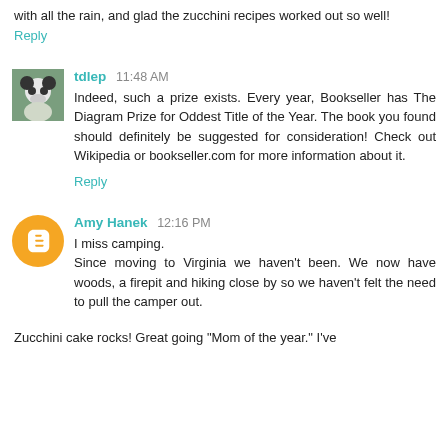with all the rain, and glad the zucchini recipes worked out so well!
Reply
tdlep 11:48 AM
Indeed, such a prize exists. Every year, Bookseller has The Diagram Prize for Oddest Title of the Year. The book you found should definitely be suggested for consideration! Check out Wikipedia or bookseller.com for more information about it.
Reply
Amy Hanek 12:16 PM
I miss camping.
Since moving to Virginia we haven't been. We now have woods, a firepit and hiking close by so we haven't felt the need to pull the camper out.
Zucchini cake rocks! Great going "Mom of the year." I've